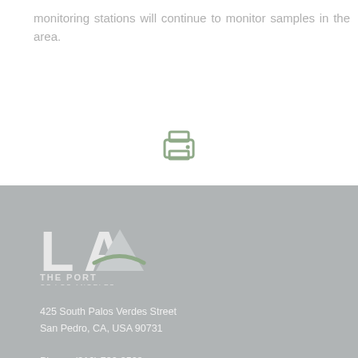monitoring stations will continue to monitor samples in the area.
[Figure (illustration): Print icon - a printer symbol in muted green/sage color]
[Figure (logo): The Port of Los Angeles logo - white LA letters with mountain/triangle and green swoosh, text reads THE PORT OF LOS ANGELES]
425 South Palos Verdes Street
San Pedro, CA, USA 90731

Phone: (310) 732-3508